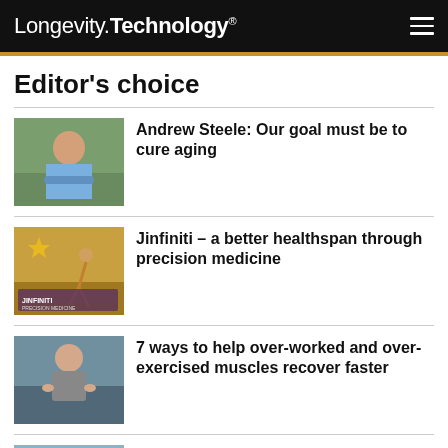Longevity.Technology®
Editor's choice
[Figure (photo): Man with arms crossed standing outdoors in a blue shirt]
Andrew Steele: Our goal must be to cure aging
[Figure (photo): Jinfiniti Precision Medicine promotional image with a person running and the Jinfiniti logo]
Jinfiniti – a better healthspan through precision medicine
[Figure (photo): Person with hands on hips, back view, outdoors]
7 ways to help over-worked and over-exercised muscles recover faster
[Figure (photo): Person outdoors, partial view]
Can nicotinamide mononucleotide